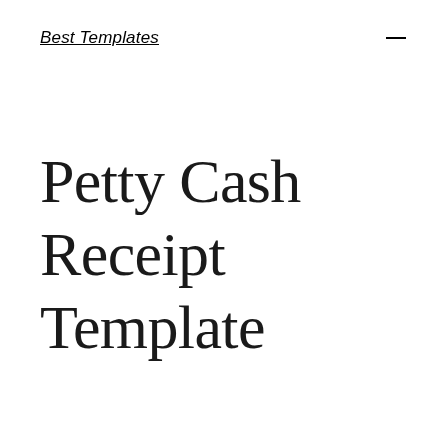Best Templates
Petty Cash Receipt Template